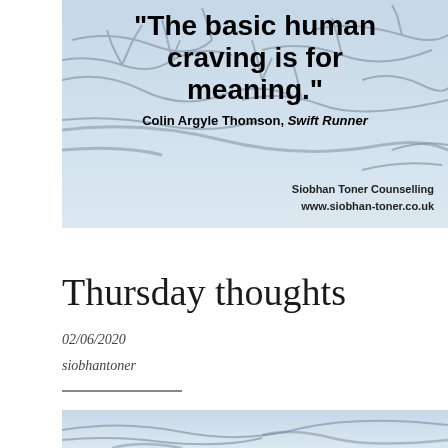[Figure (photo): Photo of bare winter tree branches against a light blue-grey sky, with a quote overlay text reading: "The basic human craving is for meaning." Colin Argyle Thomson, Swift Runner. Bottom right shows Siobhan Toner Counselling www.siobhan-toner.co.uk]
Thursday thoughts
02/06/2020
siobhantoner
[Figure (photo): Partial bottom image showing bare tree branches, cropped at bottom of page]